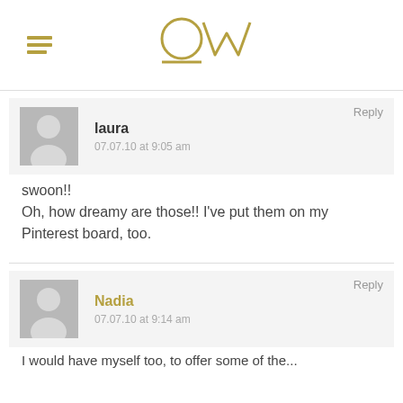OW (logo with hamburger menu)
Reply
[Figure (illustration): Gray default user avatar silhouette]
laura
07.07.10 at 9:05 am
swoon!!
Oh, how dreamy are those!! I've put them on my Pinterest board, too.
Reply
[Figure (illustration): Gray default user avatar silhouette]
Nadia
07.07.10 at 9:14 am
I would have myself too, to offer some of the...